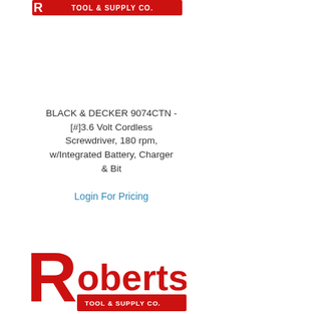Roberts Tool & Supply Co. (logo)
BLACK & DECKER 9074CTN - [#]3.6 Volt Cordless Screwdriver, 180 rpm, w/Integrated Battery, Charger & Bit
Login For Pricing
[Figure (logo): Roberts Tool & Supply Co. logo with large red R and red text]